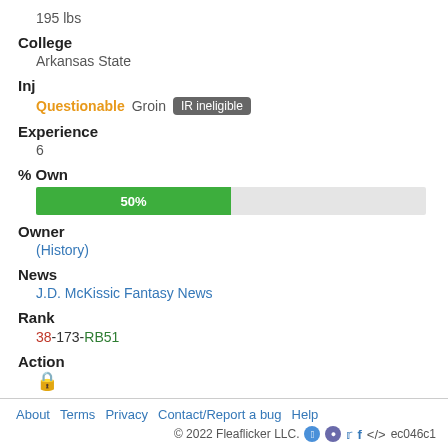195 lbs
College
Arkansas State
Inj
Questionable Groin IR ineligible
Experience
6
% Own
[Figure (bar-chart): % Own]
Owner
(History)
News
J.D. McKissic Fantasy News
Rank
38-173-RB51
Action
🔒
About  Terms  Privacy  Contact/Report a bug  Help  © 2022 Fleaflicker LLC.  ec046c1